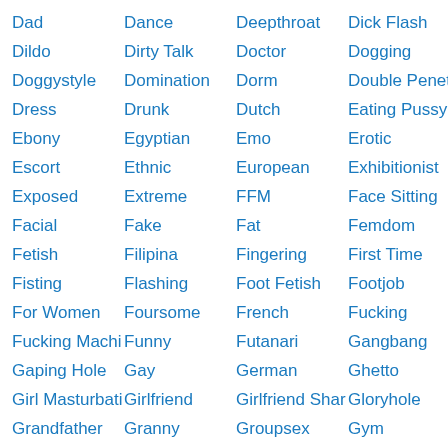Dad
Dance
Deepthroat
Dick Flash
Dildo
Dirty Talk
Doctor
Dogging
Doggystyle
Domination
Dorm
Double Penetration
Dress
Drunk
Dutch
Eating Pussy
Ebony
Egyptian
Emo
Erotic
Escort
Ethnic
European
Exhibitionist
Exposed
Extreme
FFM
Face Sitting
Facial
Fake
Fat
Femdom
Fetish
Filipina
Fingering
First Time
Fisting
Flashing
Foot Fetish
Footjob
For Women
Foursome
French
Fucking
Fucking Machine
Funny
Futanari
Gangbang
Gaping Hole
Gay
German
Ghetto
Girl Masturbation
Girlfriend
Girlfriend Sharing
Gloryhole
Grandfather
Granny
Groupsex
Gym
HD
Hairy
Handjob
Handsome